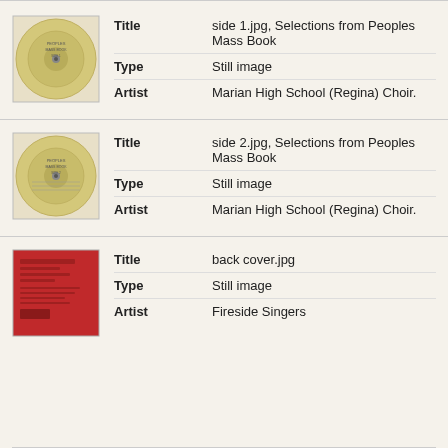[Figure (photo): Thumbnail of vinyl record label, side 1, yellow/cream color]
| Field | Value |
| --- | --- |
| Title | side 1.jpg, Selections from Peoples Mass Book |
| Type | Still image |
| Artist | Marian High School (Regina) Choir. |
[Figure (photo): Thumbnail of vinyl record label, side 2, yellow/cream color with text]
| Field | Value |
| --- | --- |
| Title | side 2.jpg, Selections from Peoples Mass Book |
| Type | Still image |
| Artist | Marian High School (Regina) Choir. |
[Figure (photo): Thumbnail of back cover, red background with text]
| Field | Value |
| --- | --- |
| Title | back cover.jpg |
| Type | Still image |
| Artist | Fireside Singers |